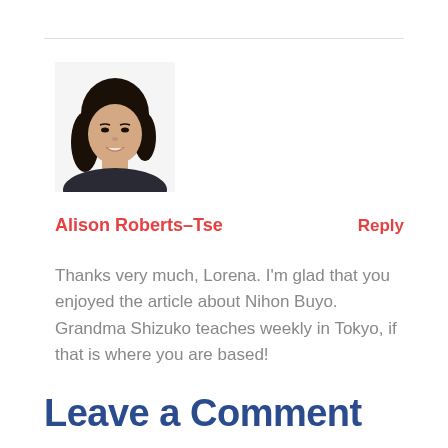[Figure (photo): Profile photo of a young Asian woman with dark wavy hair, smiling, on a white background]
Alison Roberts–Tse
Reply
Thanks very much, Lorena. I'm glad that you enjoyed the article about Nihon Buyo. Grandma Shizuko teaches weekly in Tokyo, if that is where you are based!
Leave a Comment